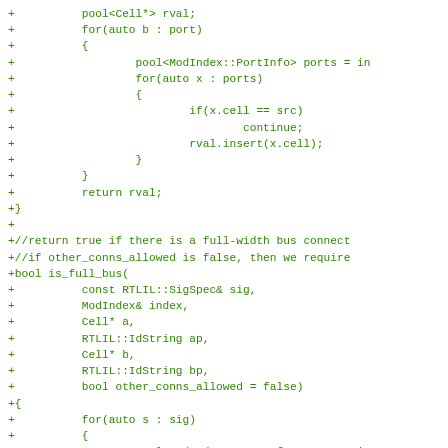+          pool<Cell*> rval;
+          for(auto b : port)
+          {
+                  pool<ModIndex::PortInfo> ports = in
+                  for(auto x : ports)
+                  {
+                          if(x.cell == src)
+                                  continue;
+                          rval.insert(x.cell);
+                  }
+          }
+          return rval;
+}
+
+//return true if there is a full-width bus connect
+//if other_conns_allowed is false, then we require
+bool is_full_bus(
+          const RTLIL::SigSpec& sig,
+          ModIndex& index,
+          Cell* a,
+          RTLIL::IdString ap,
+          Cell* b,
+          RTLIL::IdString bp,
+          bool other_conns_allowed = false)
+{
+          for(auto s : sig)
+          {
+                  pool<ModIndex::PortInfo> ports = in
+                  bool found_a = false;
+                  bool found_b = false;